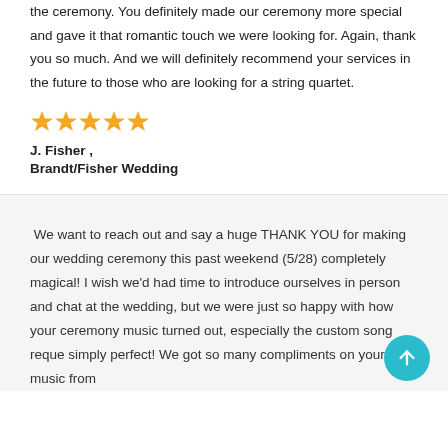the ceremony. You definitely made our ceremony more special and gave it that romantic touch we were looking for. Again, thank you so much. And we will definitely recommend your services in the future to those who are looking for a string quartet.
[Figure (other): Five orange star rating icons]
J. Fisher , Brandt/Fisher Wedding
We want to reach out and say a huge THANK YOU for making our wedding ceremony this past weekend (5/28) completely magical! I wish we'd had time to introduce ourselves in person and chat at the wedding, but we were just so happy with how your ceremony music turned out, especially the custom song reque... simply perfect! We got so many compliments on your music from